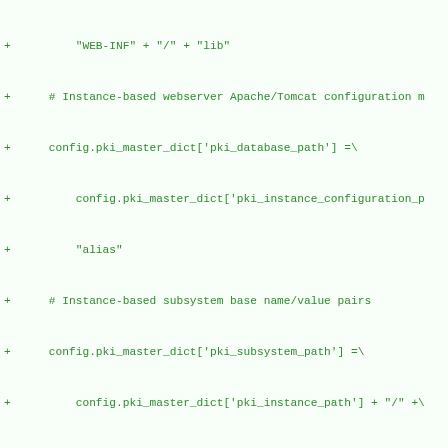Code diff showing Python configuration lines with + markers, including WEB-INF/lib path, Apache/Tomcat config, pki_master_dict assignments for database_path, instance_configuration, alias, subsystem base name/value pairs, pki_subsystem_path, pki_instance_path, pki_subsystem.lower(), pki_subsystem_database_link, pki_subsystem_path, pki_subsystem_configuration_link, pki_subsystem_logs_link, conditional checks for pki_subsystem in config.PKI, CA check, pki_subsystem_emails_path, pki_subsystem_path, pki_subsystem_profiles_p, pki_subsystem_path, pki_subsystem_webapps_link, pki_subsystem_path, Instance-based subsystem log name/value pairs, pki_subsystem_log_path